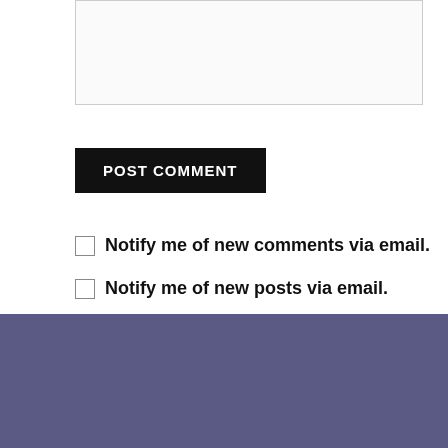[Figure (other): Textarea input box, partially visible at top of page]
POST COMMENT
Notify me of new comments via email.
Notify me of new posts via email.
RECENT POSTS
heart stone